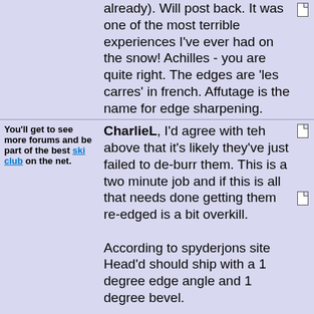already). Will post back. It was one of the most terrible experiences I've ever had on the snow! Achilles - you are quite right. The edges are 'les carres' in french. Affutage is the name for edge sharpening.
You'll get to see more forums and be part of the best ski club on the net.
CharlieL, I'd agree with teh above that it's likely they've just failed to de-burr them. This is a two minute job and if this is all that needs done getting them re-edged is a bit overkill.
According to spyderjons site Head'd should ship with a 1 degree edge angle and 1 degree bevel.
Hope this helps
Ski the Net with snowHeads 😀
Agree with the comment about edge angles!........could be the base bevel....................you may not have one!!!! try putting a bevel on and see how they go!
snowHeads are a friendly bunch
achilles wrote: